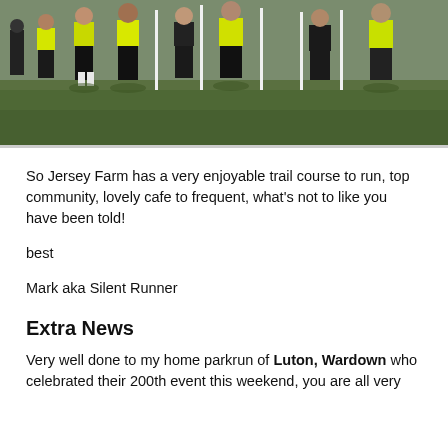[Figure (photo): Group of people standing on grass, several wearing high-visibility yellow vests, holding white poles/stakes at what appears to be a parkrun event.]
So Jersey Farm has a very enjoyable trail course to run, top community, lovely cafe to frequent, what’s not to like you have been told!
best
Mark aka Silent Runner
Extra News
Very well done to my home parkrun of Luton, Wardown who celebrated their 200th event this weekend, you are all very